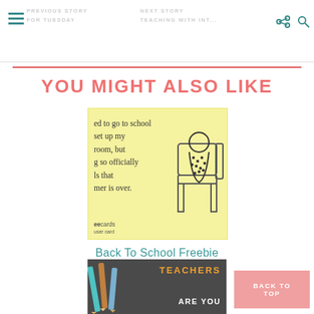PREVIOUS STORY FOR TUESDAY | NEXT STORY TEACHING WITH INT...
YOU MIGHT ALSO LIKE
[Figure (illustration): ecard image with yellow background showing text about going back to school and a cartoon figure in an armchair, with 'eecards user card' logo]
Back To School Freebie
[Figure (photo): Dark background image with pencils on left side and text 'TEACHERS ARE YOU' in orange and white]
BACK TO TOP